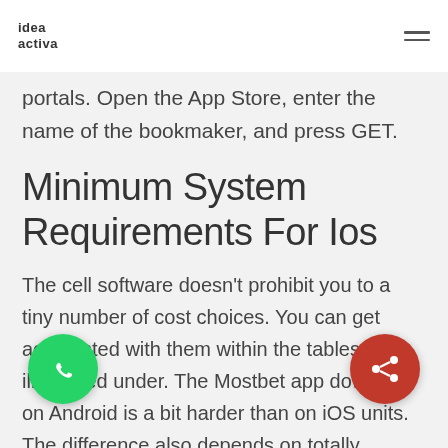idea activa
portals. Open the App Store, enter the name of the bookmaker, and press GET.
Minimum System Requirements For Ios
The cell software doesn't prohibit you to a tiny number of cost choices. You can get acquainted with them within the tables illustrated under. The Mostbet app download on Android is a bit harder than on iOS units. The difference also depends on totally different sources of downloading. It gets typically quicker when Mostbet apk is